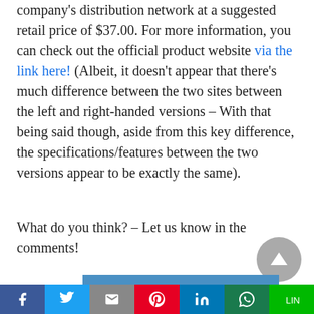company's distribution network at a suggested retail price of $37.00. For more information, you can check out the official product website via the link here! (Albeit, it doesn't appear that there's much difference between the two sites between the left and right-handed versions – With that being said though, aside from this key difference, the specifications/features between the two versions appear to be exactly the same).
What do you think? – Let us know in the comments!
[Figure (other): Subscribe to updates bar with bell icon, blue background]
[Figure (other): Social share bar with icons: Facebook, Twitter, Gmail, Pinterest, LinkedIn, WhatsApp, LINE]